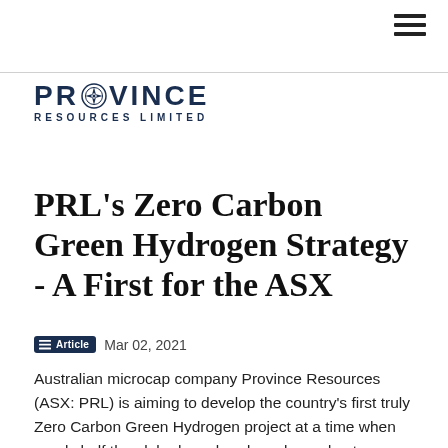[Figure (logo): Province Resources Limited logo with compass rose icon, dark navy text]
PRL's Zero Carbon Green Hydrogen Strategy - A First for the ASX
Article  Mar 02, 2021
Australian microcap company Province Resources (ASX: PRL) is aiming to develop the country's first truly Zero Carbon Green Hydrogen project at a time when nearly half the globe has already embraced net zero policies.